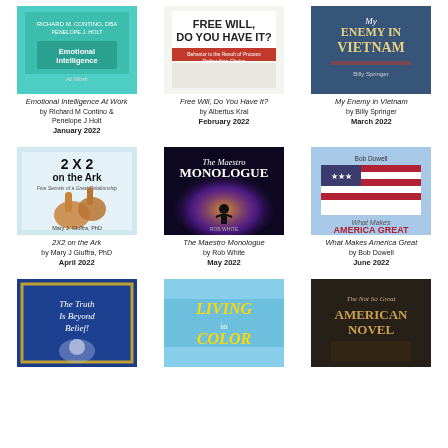[Figure (illustration): Book cover: Emotional Intelligence At Work, teal background]
Emotional Intelligence At Work
by Richard M Contino &
Penelope J Holt
January 2022
[Figure (illustration): Book cover: Free Will, Do You Have It?, white with red banner]
Free Will, Do You Have It?
by Albertus Kral
February 2022
[Figure (illustration): Book cover: My Enemy in Vietnam, blue military tones]
My Enemy in Vietnam
by Billy Springer
March 2022
[Figure (illustration): Book cover: 2X2 on the Ark, giraffes on light blue]
2X2 on the Ark
by Mary J Giuffra, PhD
April 2022
[Figure (illustration): Book cover: The Maestro Monologue, dark cosmic background with silhouette]
The Maestro Monologue
by Rob White
May 2022
[Figure (illustration): Book cover: What Makes America Great, American flag on blue sky]
What Makes America Great
by Bob Dowell
June 2022
[Figure (illustration): Book cover: The Truth Is Beyond Belief!, blue with angel figure]
[Figure (illustration): Book cover: Living in Color, sky blue with colorful lettering]
[Figure (illustration): Book cover: The Not So Great American Novel, dark tones]